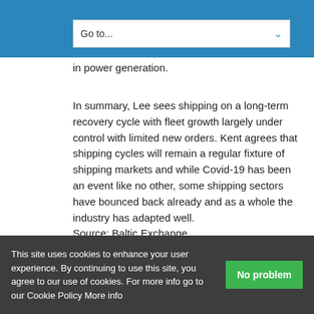or electricity rather than oil as fuel, and cheaper coal replacing oil fuel demand in power generation.
in power generation.
In summary, Lee sees shipping on a long-term recovery cycle with fleet growth largely under control with limited new orders. Kent agrees that shipping cycles will remain a regular fixture of shipping markets and while Covid-19 has been an event like no other, some shipping sectors have bounced back already and as a whole the industry has adapted well.
Source: Baltic Exchange
Select Language
This site uses cookies to enhance your user experience. By continuing to use this site, you agree to our use of cookies. For more info go to our Cookie Policy More info